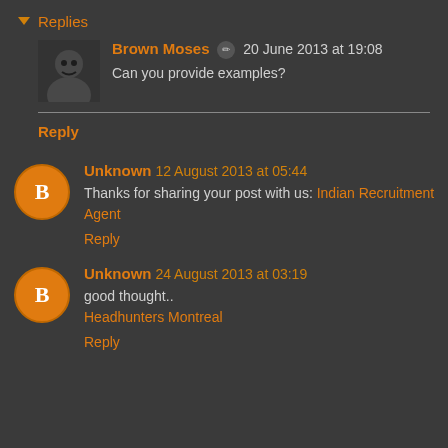Replies
Brown Moses ✏ 20 June 2013 at 19:08
Can you provide examples?
Reply
Unknown 12 August 2013 at 05:44
Thanks for sharing your post with us: Indian Recruitment Agent
Reply
Unknown 24 August 2013 at 03:19
good thought..
Headhunters Montreal
Reply